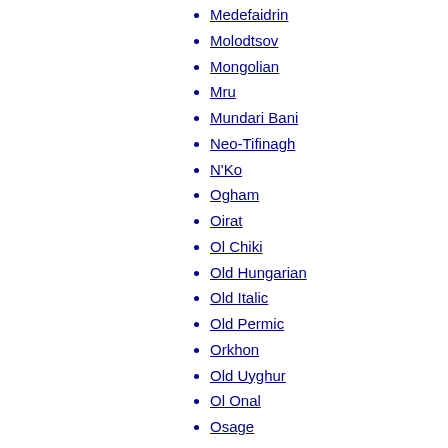Medefaidrin
Molodtsov
Mongolian
Mru
Mundari Bani
Neo-Tifinagh
N'Ko
Ogham
Oirat
Ol Chiki
Old Hungarian
Old Italic
Old Permic
Orkhon
Old Uyghur
Ol Onal
Osage
Osmanya
Pau Cin Hau
Runic
Anglo-Saxon
Cipher
Dalecarlian
Elder Futhark
Younger Futhark